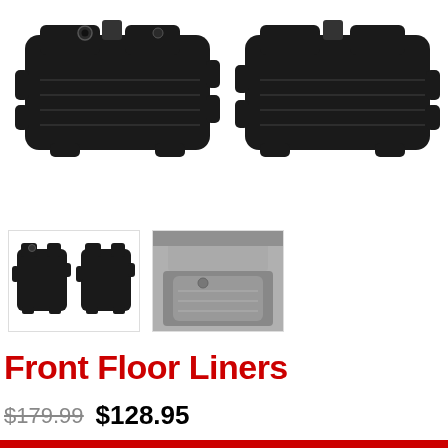[Figure (photo): Two black rubber front floor liners shown from above against a white background. Left liner is a driver-side mat with ridges and retaining posts; right liner is a passenger-side mat with similar ridged texture.]
[Figure (photo): Small thumbnail showing pair of black front floor liners side by side.]
[Figure (photo): Small thumbnail showing floor liners installed in a vehicle, grayscale photo.]
Front Floor Liners
$179.99  $128.95